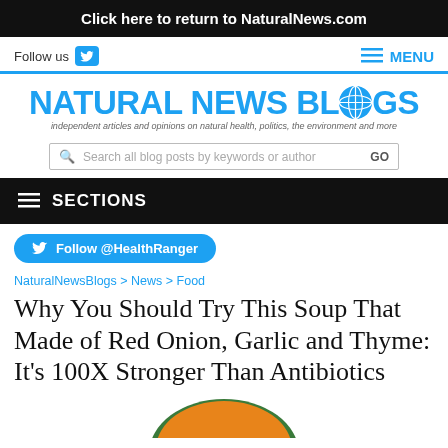Click here to return to NaturalNews.com
Follow us
MENU
[Figure (logo): Natural News Blogs logo with globe icon. Text: NATURAL NEWS BLOGS. Tagline: independent articles and opinions on natural health, politics, the environment and more]
Search all blog posts by keywords or author GO
SECTIONS
Follow @HealthRanger
NaturalNewsBlogs > News > Food
Why You Should Try This Soup That Made of Red Onion, Garlic and Thyme: It's 100X Stronger Than Antibiotics
[Figure (photo): Partial view of a bowl of orange/amber soup with a green rim, viewed from above]